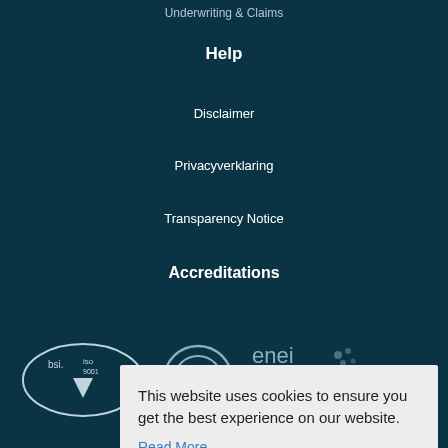Underwriting & Claims
Help
Disclaimer
Privacyverklaring
Transparency Notice
Accreditations
[Figure (logo): BSI ISO 9001 logo, a circular badge with downward triangle icon]
[Figure (logo): Circular logo partially visible]
[Figure (logo): enei logo with text and decorative element]
This website uses cookies to ensure you get the best experience on our website.
Read More
Got it!